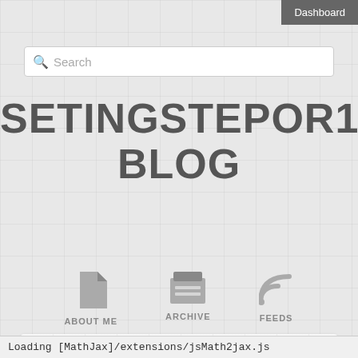Dashboard
Search
SETINGSTEPOR1971'S BLOG
ABOUT ME
ARCHIVE
FEEDS
almost 5 years ago
Watch Modena - Renate Live September 16, 2017
Looking for Watch Online Stream Modena v Renate?
Nowhere couldn't find Watch Online Stream Modena v
Loading [MathJax]/extensions/jsMath2jax.js